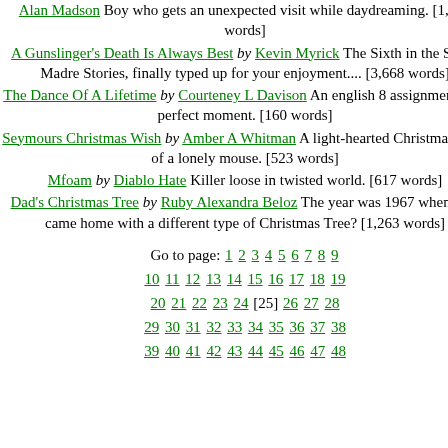Alan Madson Boy who gets an unexpected visit while daydreaming. [1,228 words]
A Gunslinger's Death Is Always Best by Kevin Myrick The Sixth in the Sierra Madre Stories, finally typed up for your enjoyment.... [3,668 words]
The Dance Of A Lifetime by Courteney L Davison An english 8 assignment on a perfect moment. [160 words]
Seymours Christmas Wish by Amber A Whitman A light-hearted Christmas story of a lonely mouse. [523 words]
Mfoam by Diablo Hate Killer loose in twisted world. [617 words]
Dad's Christmas Tree by Ruby Alexandra Beloz The year was 1967 when Dad came home with a different type of Christmas Tree? [1,263 words]
Go to page: 1 2 3 4 5 6 7 8 9 10 11 12 13 14 15 16 17 18 19 20 21 22 23 24 [25] 26 27 28 29 30 31 32 33 34 35 36 37 38 39 40 41 42 43 44 45 46 47 48